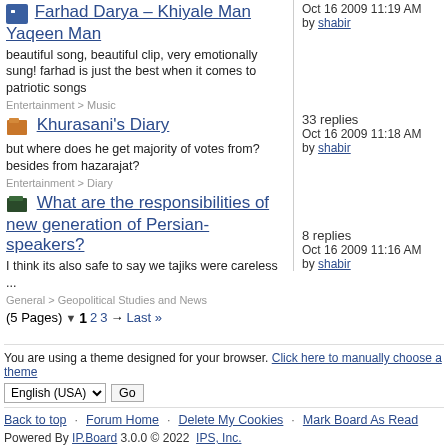Farhad Darya – Khiyale Man Yaqeen Man
beautiful song, beautiful clip, very emotionally sung! farhad is just the best when it comes to patriotic songs
Entertainment > Music
Oct 16 2009 11:19 AM
by shabir
Khurasani's Diary
but where does he get majority of votes from? besides from hazarajat?
Entertainment > Diary
33 replies
Oct 16 2009 11:18 AM
by shabir
What are the responsibilities of new generation of Persian-speakers?
I think its also safe to say we tajiks were careless ...
General > Geopolitical Studies and News
8 replies
Oct 16 2009 11:16 AM
by shabir
(5 Pages) ▼  1  2  3  →  Last »
You are using a theme designed for your browser. Click here to manually choose a theme
English (USA)  Go
Back to top · Forum Home · Delete My Cookies · Mark Board As Read
Powered By IP.Board 3.0.0 © 2022  IPS, Inc.